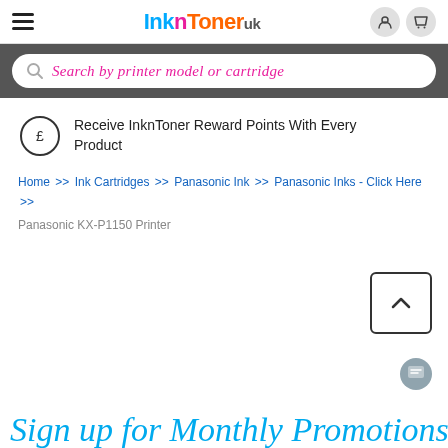InknToner UK
Search by printer model or cartridge
Receive InknToner Reward Points With Every Product
Home >> Ink Cartridges >> Panasonic Ink >> Panasonic Inks - Click Here >> Panasonic KX-P1150 Printer
[Figure (other): Scroll to top button with chevron/caret up arrow]
[Figure (other): Chat or support icon button]
Sign up for Monthly Promotions